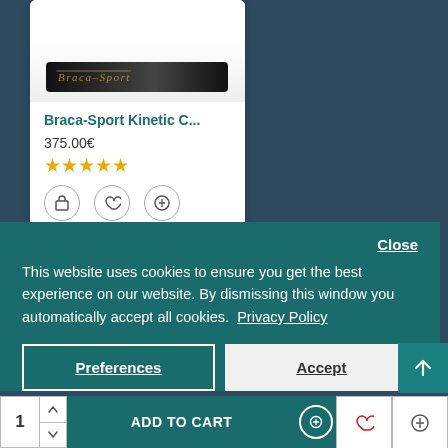[Figure (screenshot): Product card showing Braca-Sport Kinetic paddle with price 375.00€ and 5-star rating, with shopping bag, heart, and compare icons]
Braca-Sport Kinetic C...
375.00€
★★★★★
[Figure (screenshot): Cookie consent banner with Close button, privacy text, Preferences and Accept buttons]
Close
This website uses cookies to ensure you get the best experience on our website. By dismissing this window you automatically accept all cookies.  Privacy Policy
Preferences
Accept
ADD TO CART
[Figure (screenshot): Scroll to top button with upward arrow]